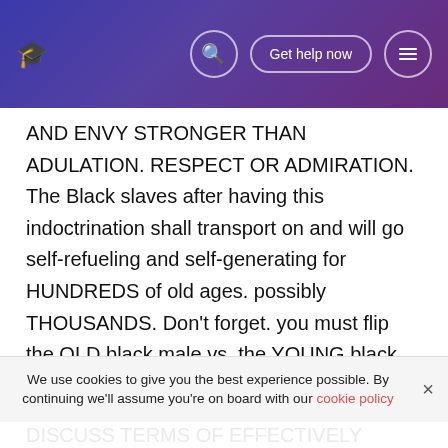🎓 [search icon] Get help now [menu icon]
AND ENVY STRONGER THAN ADULATION. RESPECT OR ADMIRATION. The Black slaves after having this indoctrination shall transport on and will go self-refueling and self-generating for HUNDREDS of old ages. possibly THOUSANDS. Don't forget. you must flip the OLD black male vs. the YOUNG black male. and the YOUNG black male against the OLD black male.

You must utilize the DARK tegument slaves vs. the LIGHT tegument slaves. and the LIGHT tegument slaves vs. the DARK tegument slaves. You must utilize the FEMALE vs. the MALE. and the MALE vs. the FEMALE. You must besides hold
We use cookies to give you the best experience possible. By continuing we'll assume you're on board with our cookie policy